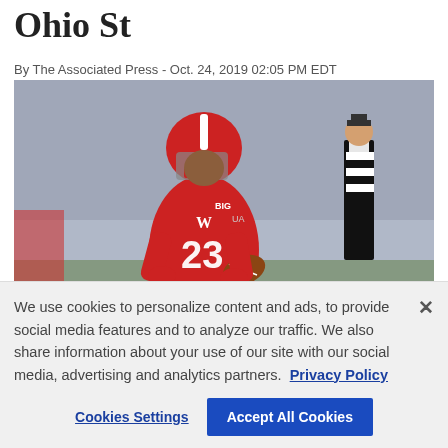Ohio St
By The Associated Press - Oct. 24, 2019 02:05 PM EDT
[Figure (photo): Wisconsin Badgers football player #23 in red uniform carrying a football, running on the field with a referee visible in the background]
We use cookies to personalize content and ads, to provide social media features and to analyze our traffic. We also share information about your use of our site with our social media, advertising and analytics partners. Privacy Policy
Cookies Settings   Accept All Cookies